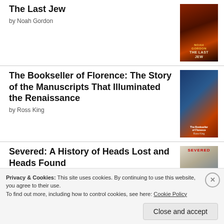The Last Jew
by Noah Gordon
The Bookseller of Florence: The Story of the Manuscripts That Illuminated the Renaissance
by Ross King
Severed: A History of Heads Lost and Heads Found
by Frances Larson
[Figure (logo): goodreads logo in rounded rectangle border]
Privacy & Cookies: This site uses cookies. By continuing to use this website, you agree to their use.
To find out more, including how to control cookies, see here: Cookie Policy
Close and accept